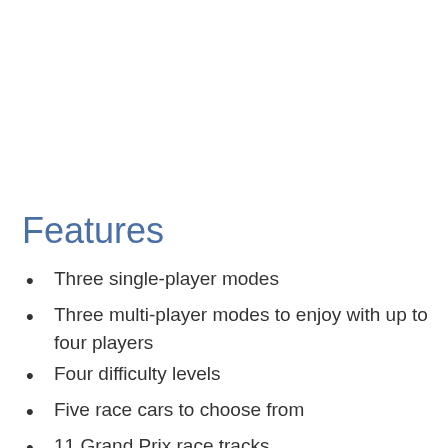Features
Three single-player modes
Three multi-player modes to enjoy with up to four players
Four difficulty levels
Five race cars to choose from
11 Grand Prix race tracks
9 additional multi-player race tracks
Awesome soundtrack by Black Device